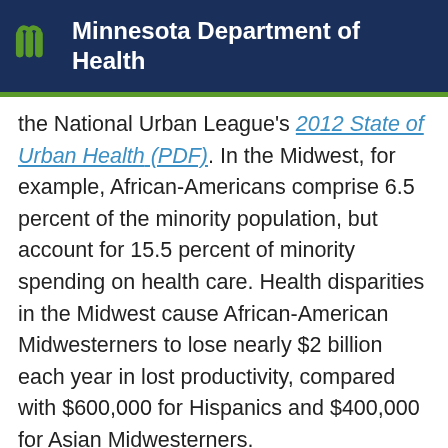Minnesota Department of Health
the National Urban League's 2012 State of Urban Health (PDF). In the Midwest, for example, African-Americans comprise 6.5 percent of the minority population, but account for 15.5 percent of minority spending on health care. Health disparities in the Midwest cause African-American Midwesterners to lose nearly $2 billion each year in lost productivity, compared with $600,000 for Hispanics and $400,000 for Asian Midwesterners.